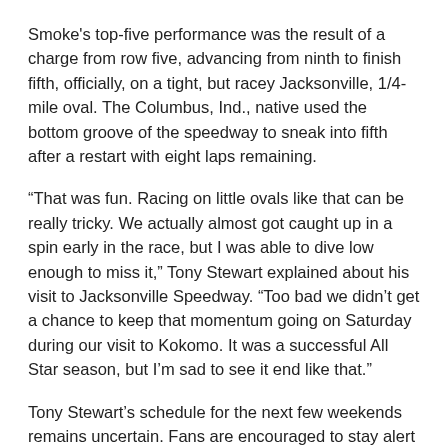Smoke's top-five performance was the result of a charge from row five, advancing from ninth to finish fifth, officially, on a tight, but racey Jacksonville, 1/4-mile oval. The Columbus, Ind., native used the bottom groove of the speedway to sneak into fifth after a restart with eight laps remaining.
“That was fun. Racing on little ovals like that can be really tricky. We actually almost got caught up in a spin early in the race, but I was able to dive low enough to miss it,” Tony Stewart explained about his visit to Jacksonville Speedway. “Too bad we didn’t get a chance to keep that momentum going on Saturday during our visit to Kokomo. It was a successful All Star season, but I’m sad to see it end like that.”
Tony Stewart’s schedule for the next few weekends remains uncertain. Fans are encouraged to stay alert online via Tony Stewart Racing social media for continuing updates.
ADDITIONAL MEDIA:
Fans are encouraged to follow the progress of Tony Stewart,